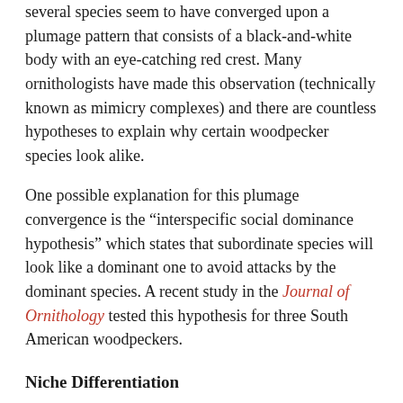several species seem to have converged upon a plumage pattern that consists of a black-and-white body with an eye-catching red crest. Many ornithologists have made this observation (technically known as mimicry complexes) and there are countless hypotheses to explain why certain woodpecker species look alike.
One possible explanation for this plumage convergence is the “interspecific social dominance hypothesis” which states that subordinate species will look like a dominant one to avoid attacks by the dominant species. A recent study in the Journal of Ornithology tested this hypothesis for three South American woodpeckers.
Niche Differentiation
Juan Manuel Fernández and his colleagues studied the ecology of Robust Woodpecker (Campephilus robustus), Lineated Woodpecker (Dryocopus lineatus) and Helmeted Woodpecker (Celeus galeatus) in Argentina. Based on the size of these species, the researchers considered the smaller Lineated Woodpecker and Helmeted Woodpecker as